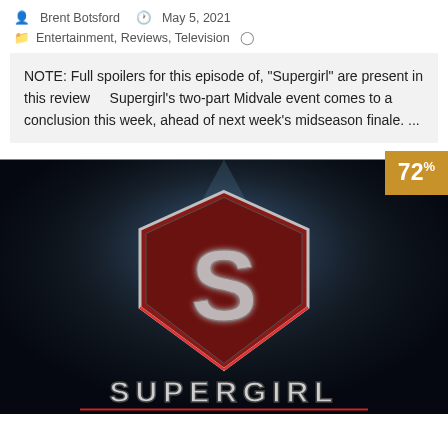Brent Botsford  May 5, 2021
Entertainment, Reviews, Television
NOTE: Full spoilers for this episode of, "Supergirl" are present in this review    Supergirl's two-part Midvale event comes to a conclusion this week, ahead of next week's midseason finale. ...
[Figure (photo): Supergirl TV show logo on dark background with a score badge showing 72%]